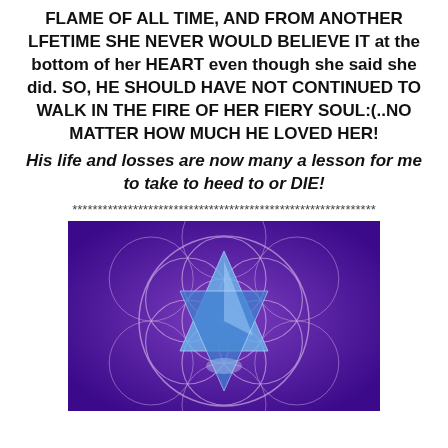FLAME OF ALL TIME, AND FROM ANOTHER LFETIME SHE NEVER WOULD BELIEVE IT at the bottom of her HEART even though she said she did. SO, HE SHOULD HAVE NOT CONTINUED TO WALK IN THE FIRE OF HER FIERY SOUL:(.NO MATTER HOW MUCH HE LOVED HER!
His life and losses are now many a lesson for me to take to heed to or DIE!
************************************************************
[Figure (illustration): A purple background with a geometric Flower of Life pattern (overlapping circles forming a mandala) and a blue crystalline star (merkaba/Star of David) shape in the center.]